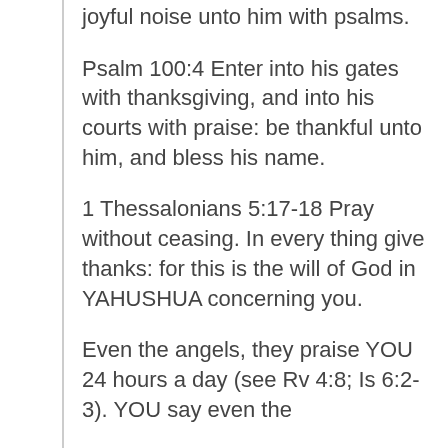joyful noise unto him with psalms.
Psalm 100:4 Enter into his gates with thanksgiving, and into his courts with praise: be thankful unto him, and bless his name.
1 Thessalonians 5:17-18 Pray without ceasing. In every thing give thanks: for this is the will of God in YAHUSHUA concerning you.
Even the angels, they praise YOU 24 hours a day (see Rv 4:8; Is 6:2-3). YOU say even the